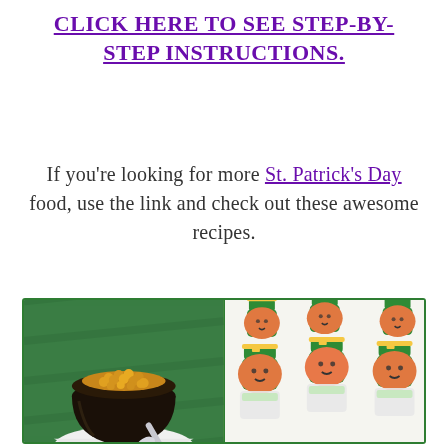CLICK HERE TO SEE STEP-BY-STEP INSTRUCTIONS.
If you're looking for more St. Patrick's Day food, use the link and check out these awesome recipes.
[Figure (photo): Two St. Patrick's Day food photos side by side inside a green-bordered box: left photo shows a chocolate pot of gold candy on a green background; right photo shows leprechaun-decorated treat cups on a light background.]